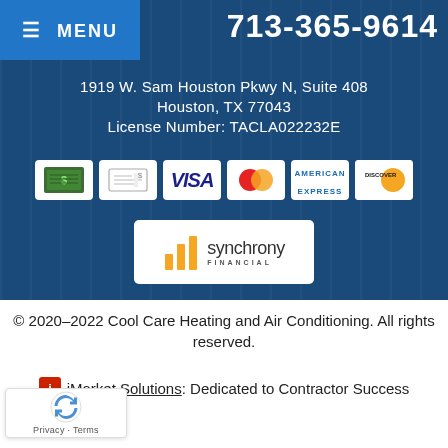≡ MENU
713-365-9614
1919 W. Sam Houston Pkwy N, Suite 408
Houston, TX 77043
License Number: TACLA022232E
[Figure (logo): Payment method icons: cash, check, Visa, Mastercard, American Express, Discover]
[Figure (logo): Synchrony Financial logo]
© 2020–2022 Cool Care Heating and Air Conditioning. All rights reserved.
iMarket Solutions: Dedicated to Contractor Success
[Figure (logo): reCAPTCHA badge with Privacy and Terms links]